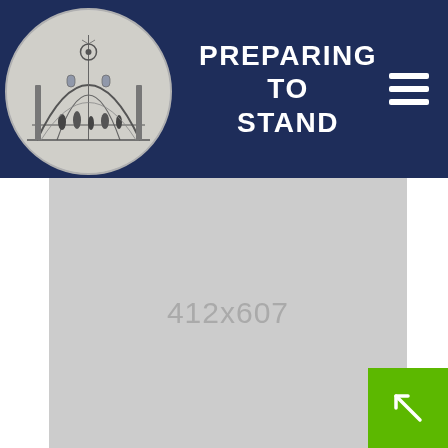[Figure (logo): Circular logo featuring a domed interior architectural scene with figures, resembling a courthouse or capitol rotunda, rendered in black and white sketch style]
PREPARING TO STAND
[Figure (other): Hamburger/menu icon with three horizontal white bars on dark navy background]
[Figure (photo): Placeholder image area showing dimensions 412x607 in gray]
[Figure (other): Green square button with diagonal arrow icon pointing upper-left]